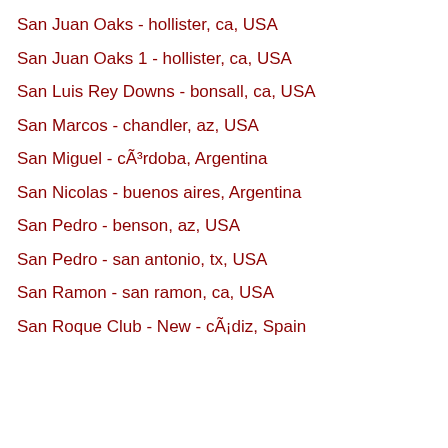San Juan Oaks - hollister, ca, USA
San Juan Oaks 1 - hollister, ca, USA
San Luis Rey Downs - bonsall, ca, USA
San Marcos - chandler, az, USA
San Miguel - cÃ³rdoba, Argentina
San Nicolas - buenos aires, Argentina
San Pedro - benson, az, USA
San Pedro - san antonio, tx, USA
San Ramon - san ramon, ca, USA
San Roque Club - New - cÃ¡diz, Spain